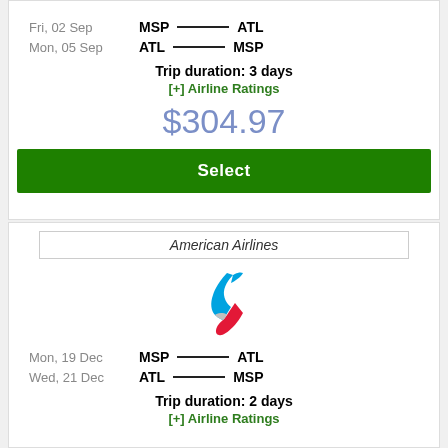Fri, 02 Sep   MSP —— ATL
Mon, 05 Sep   ATL —— MSP
Trip duration: 3 days
[+] Airline Ratings
$304.97
Select
American Airlines
[Figure (logo): American Airlines tail logo with blue and red swoosh]
Mon, 19 Dec   MSP —— ATL
Wed, 21 Dec   ATL —— MSP
Trip duration: 2 days
[+] Airline Ratings